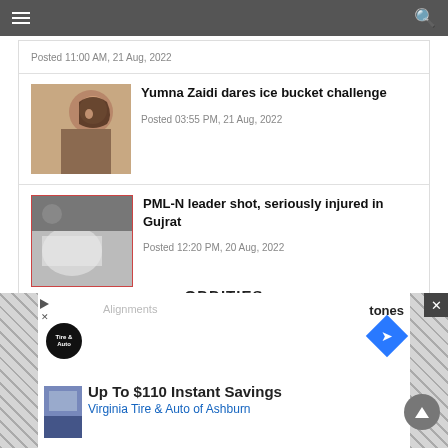Navigation bar with hamburger menu and search icon
Posted 11:00 AM, 21 Aug, 2022
Yumna Zaidi dares ice bucket challenge
Posted 03:55 PM, 21 Aug, 2022
PML-N leader shot, seriously injured in Gujrat
Posted 12:20 PM, 20 Aug, 2022
ODDITIES
[Figure (screenshot): Advertisement overlay: Tire & Auto logo, navigation icon, 'Up To $110 Instant Savings' text, 'Virginia Tire & Auto of Ashburn' subtitle, Alignments text, close button]
Up To $110 Instant Savings
Virginia Tire & Auto of Ashburn